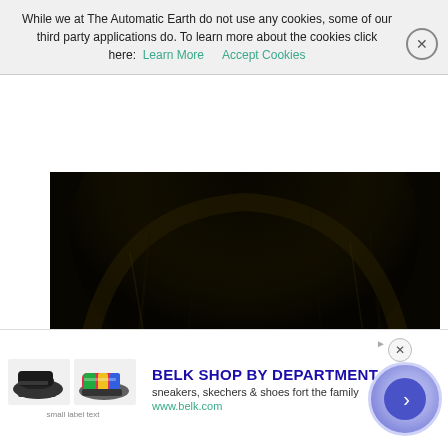While we at The Automatic Earth do not use any cookies, some of our third party applications do. To learn more about the cookies click here: Learn More   Accept Cookies
[Figure (photo): Dark painting showing an arched interior space, possibly a cave or cathedral vault, with warm amber-gold light in the lower right and shadowy dark tones throughout. Appears to be an old master style artwork.]
[Figure (screenshot): Advertisement banner for Belk Shop featuring shoe images (black sneaker and colorful sneaker). Text reads: BELK SHOP BY DEPARTMENT, sneakers, skechers & shoes fort the family, www.belk.com. Includes navigation circle button with right arrow.]